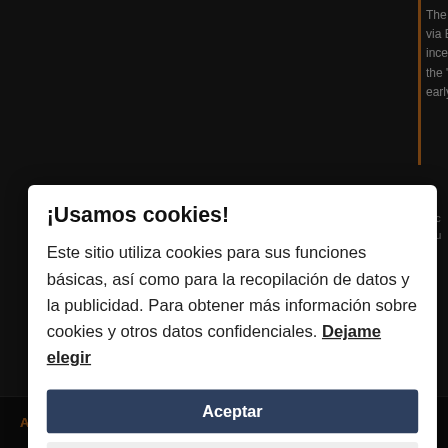[Figure (screenshot): Dark website background with text about Perfect Strangers Live DVD via Eagle Vision concert, partially visible behind cookie consent modal]
¡Usamos cookies!
Este sitio utiliza cookies para sus funciones básicas, así como para la recopilación de datos y la publicidad. Para obtener más información sobre cookies y otros datos confidenciales. Dejame elegir
Aceptar
Close
Arriba   perfil